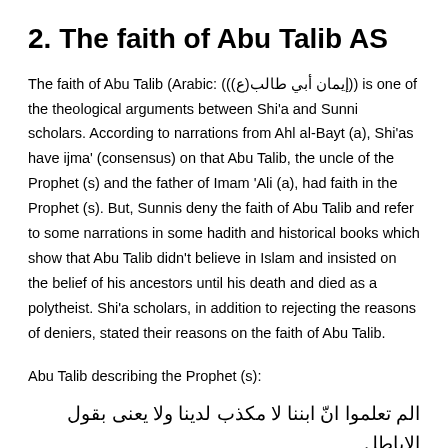2. The faith of Abu Talib AS
The faith of Abu Talib (Arabic: ((ع) إيمان أبي طالب)) is one of the theological arguments between Shi'a and Sunni scholars. According to narrations from Ahl al-Bayt (a), Shi'as have ijma' (consensus) on that Abu Talib, the uncle of the Prophet (s) and the father of Imam 'Ali (a), had faith in the Prophet (s). But, Sunnis deny the faith of Abu Talib and refer to some narrations in some hadith and historical books which show that Abu Talib didn't believe in Islam and insisted on the belief of his ancestors until his death and died as a polytheist. Shi'a scholars, in addition to rejecting the reasons of deniers, stated their reasons on the faith of Abu Talib.
Abu Talib describing the Prophet (s):
الم تعلموا انّ ابننا لا مكذب لدينا ولا يعنى بقول الاباطل